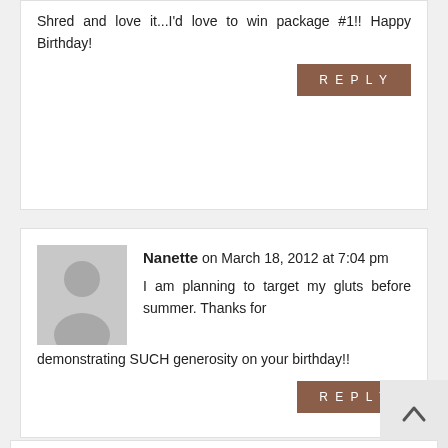Shred and love it...I'd love to win package #1!! Happy Birthday!
REPLY
Nanette on March 18, 2012 at 7:04 pm
I am planning to target my gluts before summer. Thanks for demonstrating SUCH generosity on your birthday!!
REPLY
Clara on March 18, 2012 at 7:04 pm